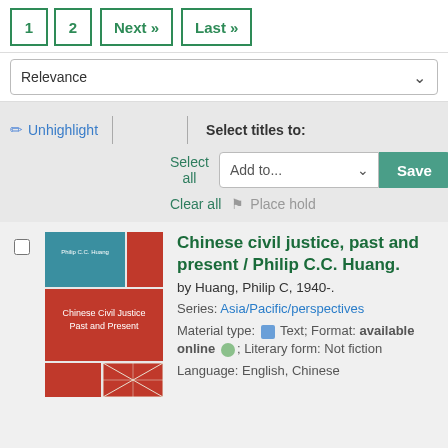1  2  Next »  Last »
Relevance
✏ Unhighlight  |  | Select titles to:  Select all  Add to...  Save  Clear all  🔖 Place hold
[Figure (photo): Book cover of 'Chinese Civil Justice Past and Present' with red and teal sections]
Chinese civil justice, past and present / Philip C.C. Huang.
by Huang, Philip C, 1940-.
Series: Asia/Pacific/perspectives
Material type: Text; Format: available online; Literary form: Not fiction
Language: English, Chinese